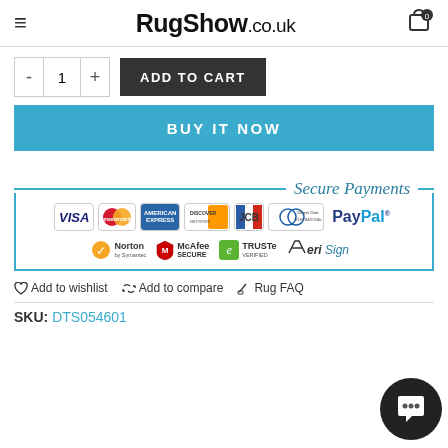RugShow.co.uk
- 1 + ADD TO CART
BUY IT NOW
[Figure (logo): Secure Payments section with payment method logos: VISA, MasterCard, American Express, Discover, JCB, Diners Club, PayPal, and security badges: Norton by Symantec, McAfee SECURE, TRUSTe VERIFIED, VeriSign]
♡ Add to wishlist   ⇄ Add to compare   ✎ Rug FAQ
SKU: DTS054601